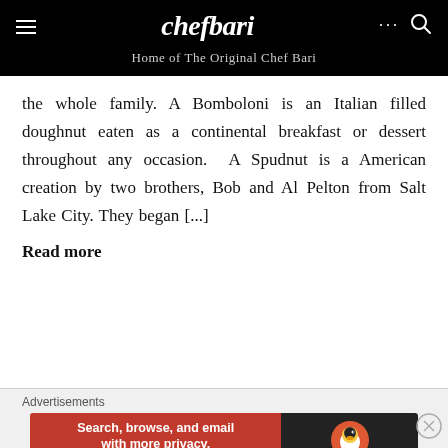chefbari — Home of The Original Chef Bari
the whole family. A Bomboloni is an Italian filled doughnut eaten as a continental breakfast or dessert throughout any occasion.  A Spudnut is a American creation by two brothers, Bob and Al Pelton from Salt Lake City. They began [...]
Read more
[Figure (screenshot): DuckDuckGo advertisement banner: orange left panel with 'Search, browse, and email with more privacy. All in One Free App' and dark right panel with DuckDuckGo duck logo]